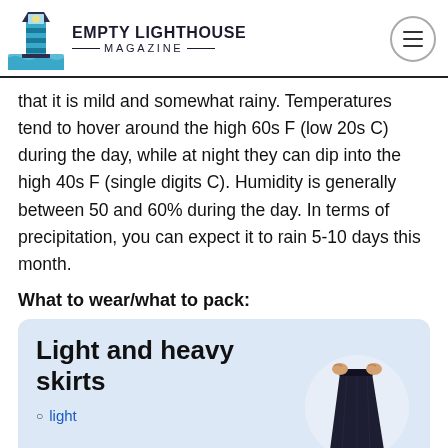EMPTY LIGHTHOUSE MAGAZINE
that it is mild and somewhat rainy. Temperatures tend to hover around the high 60s F (low 20s C) during the day, while at night they can dip into the high 40s F (single digits C). Humidity is generally between 50 and 60% during the day. In terms of precipitation, you can expect it to rain 5-10 days this month.
What to wear/what to pack:
[Figure (other): Product card with light blue background showing 'Light and heavy skirts' with a photo of a dark maxi skirt and a list item 'light']